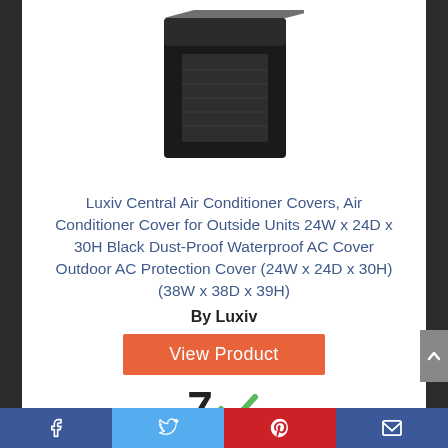[Figure (photo): Black outdoor AC cover product image, square box-shaped cover in dark fabric]
Luxiv Central Air Conditioner Covers, Air Conditioner Cover for Outside Units 24W x 24D x 30H Black Dust-Proof Waterproof AC Cover Outdoor AC Protection Cover (24W x 24D x 30H) (38W x 38D x 39H)
By Luxiv
View Product
7 ✓
Score
Facebook | Twitter | Pinterest | Email